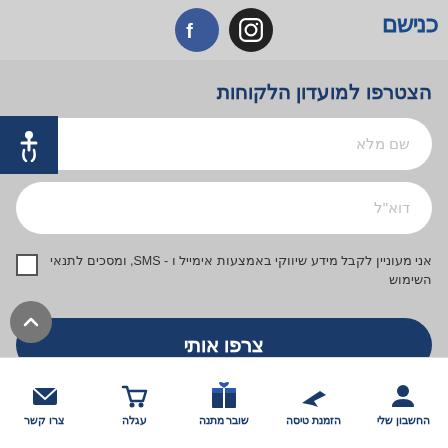כנישם - header with Instagram and Facebook social icons
הצטרפו למועדון הלקוחות
שם מלא - input field placeholder
דוא"ל - input field placeholder
אני מעוניין לקבל מידע שיווקי באמצעות אימייל ו - SMS, ומסכים לתנאי השימוש
צרפו אותי - submit button
החשבון שלי | הזמנת טיסה | שובר מתנה | עגלה | צרו קשר